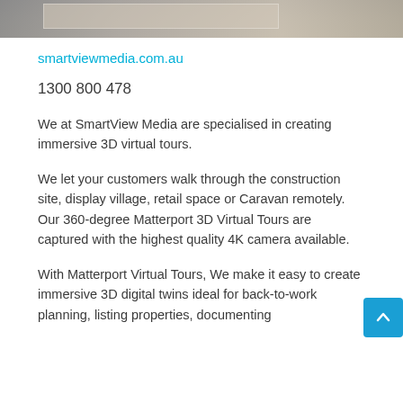[Figure (photo): Partial interior photo strip showing a room with light-colored walls and furniture, cropped to a narrow horizontal band at the top of the page.]
smartviewmedia.com.au
1300 800 478
We at SmartView Media are specialised in creating immersive 3D virtual tours.
We let your customers walk through the construction site, display village, retail space or Caravan remotely. Our 360-degree Matterport 3D Virtual Tours are captured with the highest quality 4K camera available.
With Matterport Virtual Tours, We make it easy to create immersive 3D digital twins ideal for back-to-work planning, listing properties, documenting